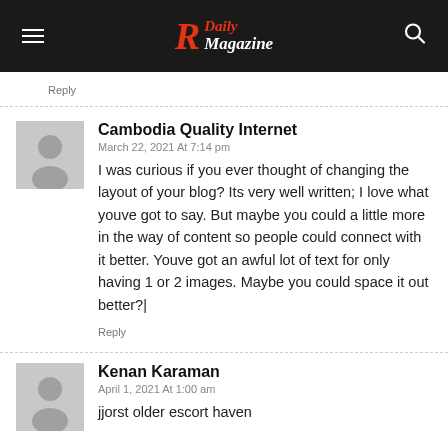R Daily Magazine
Reply
Cambodia Quality Internet
March 22, 2021 At 7:14 pm
I was curious if you ever thought of changing the layout of your blog? Its very well written; I love what youve got to say. But maybe you could a little more in the way of content so people could connect with it better. Youve got an awful lot of text for only having 1 or 2 images. Maybe you could space it out better?|
Reply
Kenan Karaman
April 1, 2021 At 1:00 am
jjorst older escort haven